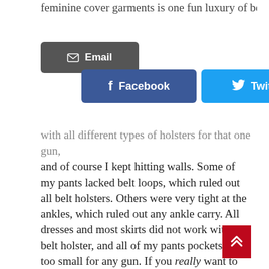feminine cover garments is one fun luxury of being a
[Figure (infographic): Social share buttons: Facebook (dark blue), Twitter (light blue), Pinterest (red), Email (dark gray)]
with all different types of holsters for that one gun, and of course I kept hitting walls. Some of my pants lacked belt loops, which ruled out all belt holsters. Others were very tight at the ankles, which ruled out any ankle carry. All dresses and most skirts did not work with a belt holster, and all of my pants pockets were too small for any gun. If you really want to carry your gun, however, persistence pays off. I have learned that on my body, with the types of fitted clothing I usually wear, different outfits work better with different types of holsters.